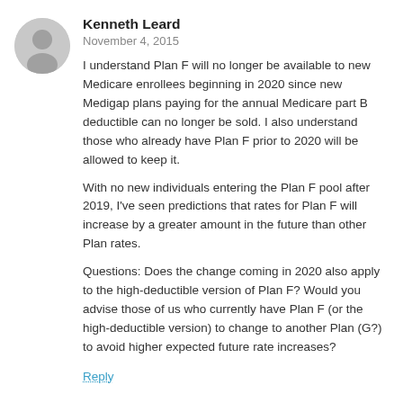[Figure (illustration): Gray circular avatar silhouette for Kenneth Leard]
Kenneth Leard
November 4, 2015
I understand Plan F will no longer be available to new Medicare enrollees beginning in 2020 since new Medigap plans paying for the annual Medicare part B deductible can no longer be sold. I also understand those who already have Plan F prior to 2020 will be allowed to keep it.
With no new individuals entering the Plan F pool after 2019, I've seen predictions that rates for Plan F will increase by a greater amount in the future than other Plan rates.
Questions: Does the change coming in 2020 also apply to the high-deductible version of Plan F? Would you advise those of us who currently have Plan F (or the high-deductible version) to change to another Plan (G?) to avoid higher expected future rate increases?
Reply
[Figure (photo): Photo of David Forbes, a man smiling]
David Forbes
November 4, 2015
Kenneth, I think a lot of marketers are predicting...